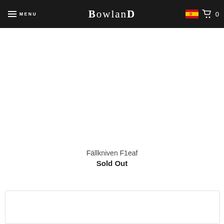MENU  BOWLAND  0
[Figure (photo): White/empty product image area for Fällkniven F1eaf knife product]
Fällkniven F1eaf
Sold Out
[Figure (photo): Partially visible product card at bottom of page]